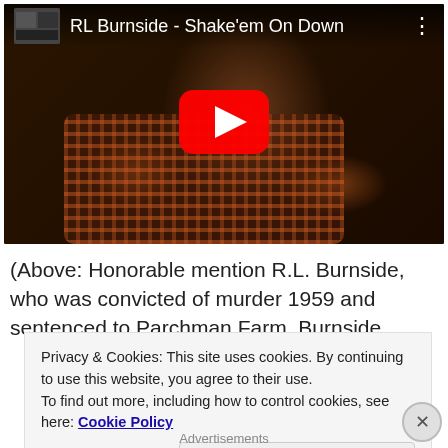[Figure (screenshot): YouTube video thumbnail showing RL Burnside - Shake'em On Down with a play button overlay. The video shows a performer playing guitar in a plaid shirt on a dark background.]
(Above: Honorable mention R.L. Burnside, who was convicted of murder 1959 and sentenced to Parchman Farm. Burnside
Privacy & Cookies: This site uses cookies. By continuing to use this website, you agree to their use.
To find out more, including how to control cookies, see here: Cookie Policy
Close and accept
Advertisements